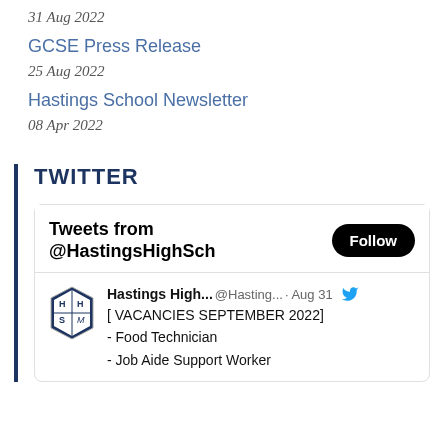31 Aug 2022
GCSE Press Release
25 Aug 2022
Hastings School Newsletter
08 Apr 2022
TWITTER
[Figure (screenshot): Embedded Twitter widget showing tweets from @HastingsHighSch with a Follow button, and a tweet from Hastings High... @Hasting... on Aug 31 listing vacancies for September 2022 including Food Technician and Job Aide Support Worker]
[ VACANCIES SEPTEMBER 2022]
- Food Technician
- Job Aide Support Worker